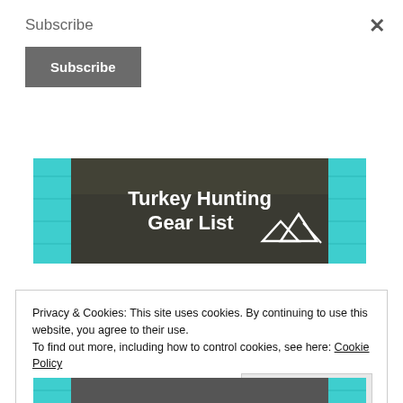Subscribe
[Figure (screenshot): Subscribe button (dark gray, white text)]
[Figure (photo): Turkey Hunting Gear List banner image with teal wood border and mountain logo]
Privacy & Cookies: This site uses cookies. By continuing to use this website, you agree to their use.
To find out more, including how to control cookies, see here: Cookie Policy
[Figure (screenshot): Close and accept button (light gray)]
[Figure (photo): Bottom partial image of another hunting banner]